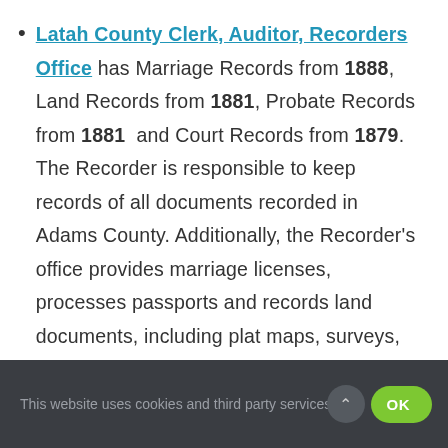Latah County Clerk, Auditor, Recorders Office has Marriage Records from 1888, Land Records from 1881, Probate Records from 1881 and Court Records from 1879. The Recorder is responsible to keep records of all documents recorded in Adams County. Additionally, the Recorder's office provides marriage licenses, processes passports and records land documents, including plat maps, surveys, easements, assertions of right-of-way, and some types of liens.
This website uses cookies and third party services.